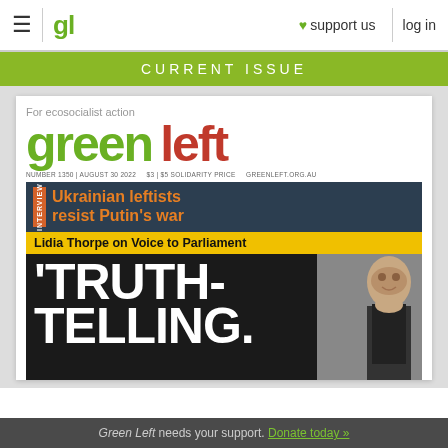≡  gl  ♥ support us  log in
CURRENT ISSUE
[Figure (illustration): Cover of Green Left magazine, Number 1350, August 30 2022. Tagline: For ecosocialist action. Headlines: Ukrainian leftists resist Putin's war (interview); Lidia Thorpe on Voice to Parliament; 'TRUTH-TELLING.' Large text with photo of Lidia Thorpe.]
Green Left needs your support. Donate today »